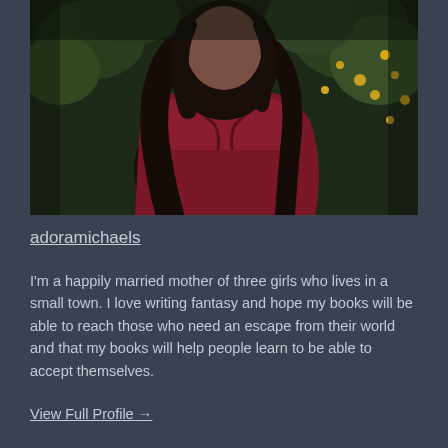[Figure (photo): A woman with long dark hair wearing a dark red off-shoulder top, surrounded by green foliage with yellow flowers, photographed from above/angled in a moody, artistic style.]
adoramichaels
I'm a happily married mother of three girls who lives in a small town. I love writing fantasy and hope my books will be able to reach those who need an escape from their world and that my books will help people learn to be able to accept themselves.
View Full Profile →